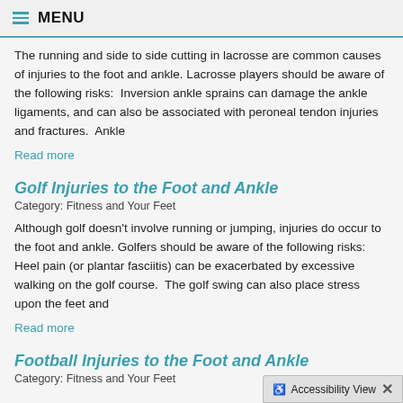MENU
The running and side to side cutting in lacrosse are common causes of injuries to the foot and ankle. Lacrosse players should be aware of the following risks:  Inversion ankle sprains can damage the ankle ligaments, and can also be associated with peroneal tendon injuries and fractures.  Ankle
Read more
Golf Injuries to the Foot and Ankle
Category: Fitness and Your Feet
Although golf doesn't involve running or jumping, injuries do occur to the foot and ankle. Golfers should be aware of the following risks: Heel pain (or plantar fasciitis) can be exacerbated by excessive walking on the golf course.  The golf swing can also place stress upon the feet and
Read more
Football Injuries to the Foot and Ankle
Category: Fitness and Your Feet